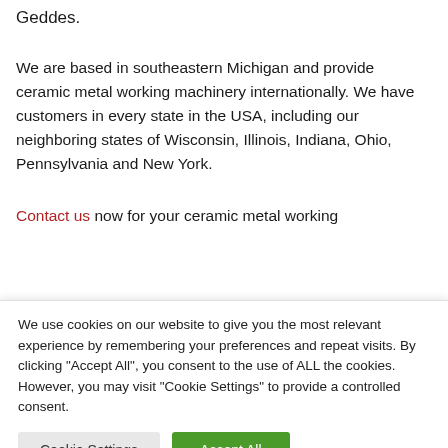Geddes.
We are based in southeastern Michigan and provide ceramic metal working machinery internationally. We have customers in every state in the USA, including our neighboring states of Wisconsin, Illinois, Indiana, Ohio, Pennsylvania and New York.
Contact us now for your ceramic metal working
We use cookies on our website to give you the most relevant experience by remembering your preferences and repeat visits. By clicking “Accept All”, you consent to the use of ALL the cookies. However, you may visit “Cookie Settings” to provide a controlled consent.